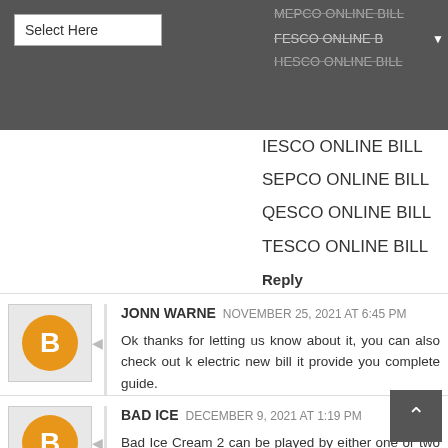[Figure (screenshot): Dropdown menu selector showing 'Select Here' with options: MEPCO ONLINE BILL, FESCO ONLINE BILL (active/selected with dropdown arrow), HESCO ONLINE BILL]
IESCO ONLINE BILL
SEPCO ONLINE BILL
QESCO ONLINE BILL
TESCO ONLINE BILL
Reply
JONN WARNE  NOVEMBER 25, 2021 AT 6:45 PM
Ok thanks for letting us know about it, you can also check out k electric new bill it provide you complete guide.
Reply
BAD ICE  DECEMBER 9, 2021 AT 1:19 PM
Bad Ice Cream 2 can be played by either one or two players, This is